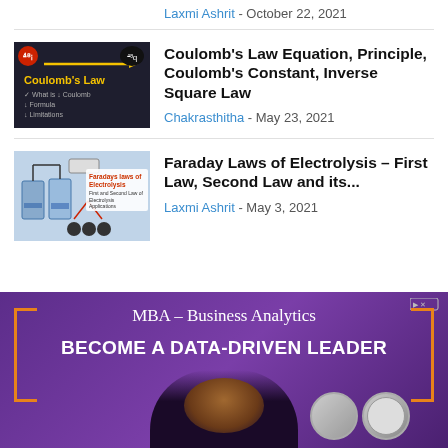Laxmi Ashrit - October 22, 2021
[Figure (screenshot): Thumbnail image for Coulomb's Law article showing dark background with 'Coulomb's Law' text in yellow]
Coulomb's Law Equation, Principle, Coulomb's Constant, Inverse Square Law
Chakrasthitha - May 23, 2021
[Figure (screenshot): Thumbnail image for Faraday Laws of Electrolysis article showing lab equipment]
Faraday Laws of Electrolysis – First Law, Second Law and its...
Laxmi Ashrit - May 3, 2021
[Figure (photo): Advertisement banner for MBA – Business Analytics program with purple background and text 'BECOME A DATA-DRIVEN LEADER' and a woman's photo]